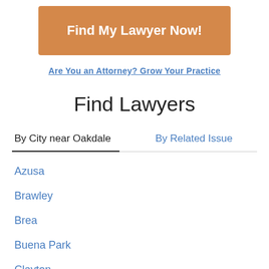[Figure (other): Orange button with white bold text 'Find My Lawyer Now!']
Are You an Attorney? Grow Your Practice
Find Lawyers
By City near Oakdale | By Related Issue
Azusa
Brawley
Brea
Buena Park
Clayton
Colusa